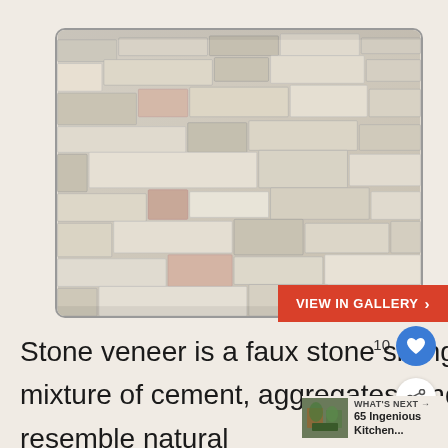[Figure (photo): Stacked stone veneer wall panel showing layered rectangular stone tiles in beige, cream, and light brown tones with varied textures, displayed within a rounded rectangle frame]
VIEW IN GALLERY >
10
Stone veneer is a faux stone siding that emulates the real thing. It's a mixture of cement, aggregates, and iron oxid... are put into a mold to resemble natural
WHAT'S NEXT → 65 Ingenious Kitchen...